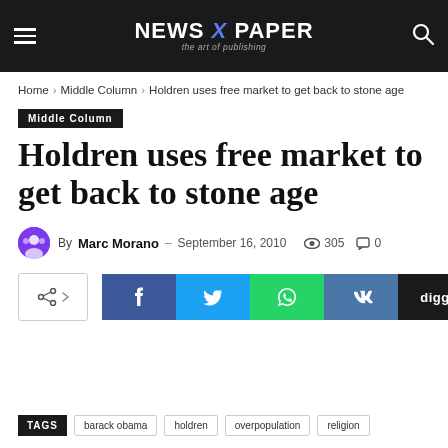NEWS X PAPER — the art of publishing
Home › Middle Column › Holdren uses free market to get back to stone age
Middle Column
Holdren uses free market to get back to stone age
By Marc Morano – September 16, 2010  305  0
[Figure (other): Social share buttons: share toggle, Facebook, Twitter, WhatsApp, VK, Digg]
TAGS  barack obama  holdren  overpopulation  religion